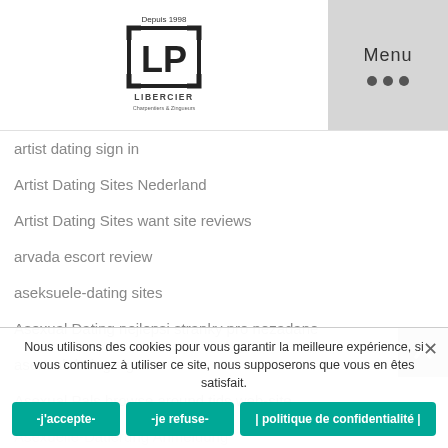LP Libercier — Menu
artist dating sign in
Artist Dating Sites Nederland
Artist Dating Sites want site reviews
arvada escort review
aseksuele-dating sites
Asexual Dating nejlepsi stranky pro nezadane
asexual dating sign in
Asexual Pals browse around tids web-site
Asexuelle-Datierung Anmeldung (partially visible)
Ashley Madison dating din opis (partially visible)
Nous utilisons des cookies pour vous garantir la meilleure expérience, si vous continuez à utiliser ce site, nous supposerons que vous en êtes satisfait.
-j'accepte-  -je refuse-  | politique de confidentialité |